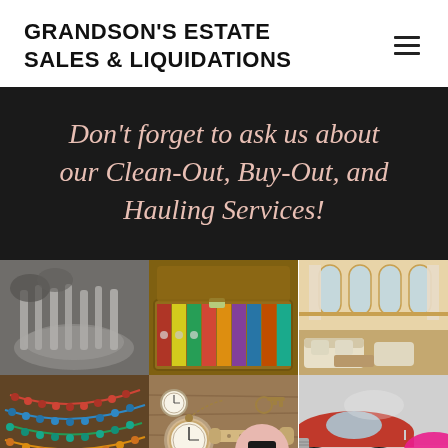GRANDSON'S ESTATE SALES & LIQUIDATIONS
Don't forget to ask us about our Clean-Out, Buy-Out, and Hauling Services!
[Figure (photo): Grid of six estate sale photos: silverware/dishes, vinyl records in suitcase, luxury living room interior, colorful beaded jewelry, pocket watches and antique tools, vintage red car]
[Figure (other): Chat/message button overlay icon - pink circle with dark chat bubble icon]